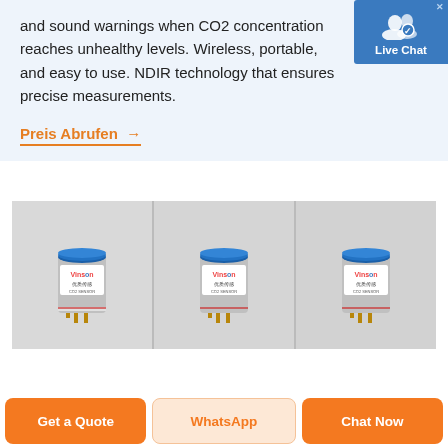and sound warnings when CO2 concentration reaches unhealthy levels. Wireless, portable, and easy to use. NDIR technology that ensures precise measurements.
Preis Abrufen →
[Figure (photo): Three Vinson brand cylindrical CO2 sensor modules shown side by side against a light grey background. Each sensor is a small metallic cylinder with a blue top ring, a white label reading 'Vinson', and metal pin contacts at the bottom.]
Get a Quote
WhatsApp
Chat Now